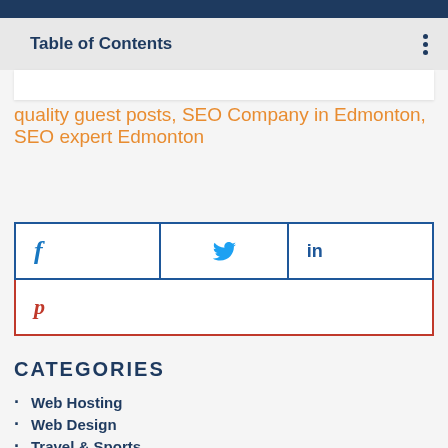Table of Contents
quality guest posts, SEO Company in Edmonton, SEO expert Edmonton
[Figure (infographic): Social media share buttons: Facebook (f), Twitter (bird icon), LinkedIn (in), Pinterest (p)]
CATEGORIES
Web Hosting
Web Design
Travel & Sports
Social Media